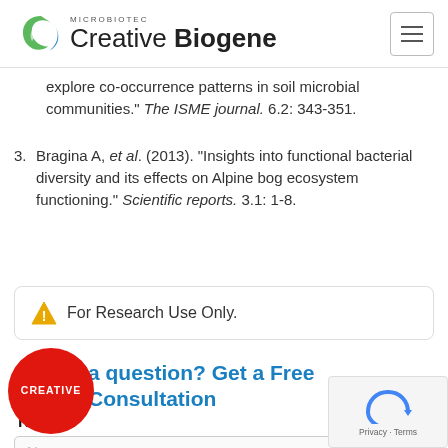Creative Biogene — MICROBIOTEC
explore co-occurrence patterns in soil microbial communities." The ISME journal. 6.2: 343-351.
3. Bragina A, et al. (2013). "Insights into functional bacterial diversity and its effects on Alpine bog ecosystem functioning." Scientific reports. 3.1: 1-8.
For Research Use Only.
Have a question? Get a Free Consultation
Name
Name